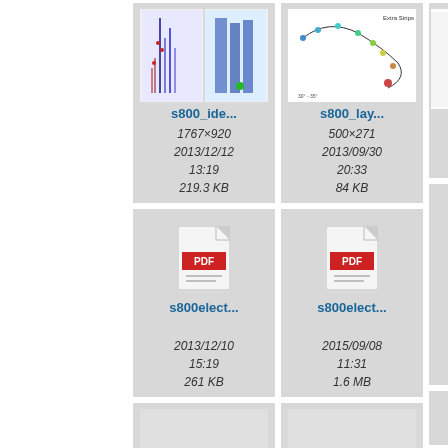[Figure (screenshot): File browser thumbnail grid showing scientific image and PDF files with metadata (filename, dimensions, date, size)]
s800_ide...
1767×920
2013/12/12 13:19
219.3 KB
s800_lay...
500×271
2013/09/30 20:33
84 KB
s800elect...
2013/12/10 15:19
261 KB
s800elect...
2015/09/08 11:31
1.6 MB